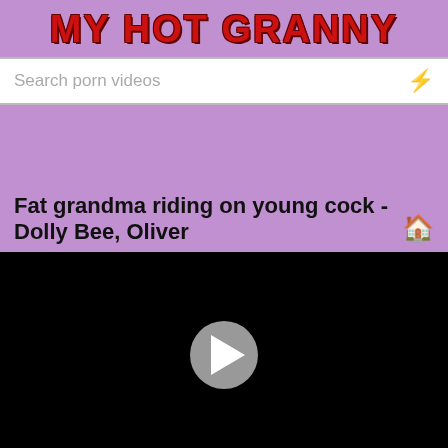MY HOT GRANNY
Search porn videos
Fat grandma riding on young cock - Dolly Bee, Oliver
[Figure (screenshot): Black video player with circular play button in center]